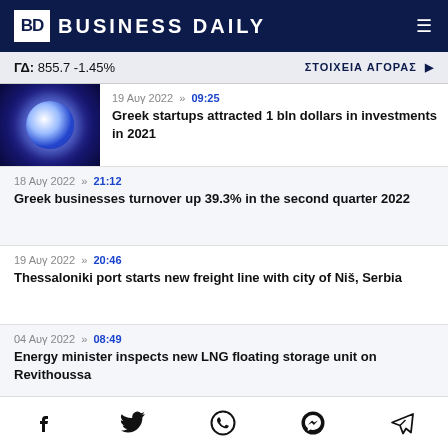BD BUSINESS DAILY
ΓΔ: 855.7 -1.45%   ΣΤΟΙΧΕΙΑ ΑΓΟΡΑΣ ▶
19 Αυγ 2022 >> 09:25 — Greek startups attracted 1 bln dollars in investments in 2021
18 Αυγ 2022 >> 21:12 — Greek businesses turnover up 39.3% in the second quarter 2022
19 Αυγ 2022 >> 20:46 — Thessaloniki port starts new freight line with city of Niš, Serbia
04 Αυγ 2022 >> 08:49 — Energy minister inspects new LNG floating storage unit on Revithoussa
23 Αυγ 2022 >> 10:36
Social share icons: Facebook, Twitter, WhatsApp, Messenger, Telegram